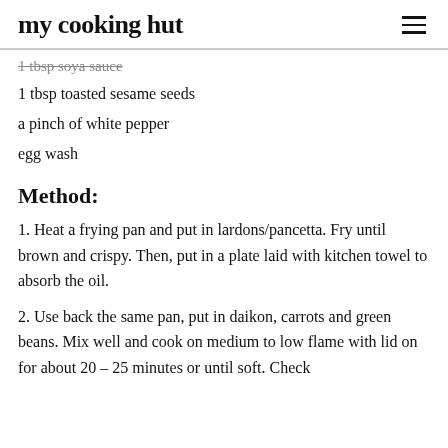my cooking hut
1 tbsp soya sauce
1 tbsp toasted sesame seeds
a pinch of white pepper
egg wash
Method:
1. Heat a frying pan and put in lardons/pancetta. Fry until brown and crispy. Then, put in a plate laid with kitchen towel to absorb the oil.
2. Use back the same pan, put in daikon, carrots and green beans. Mix well and cook on medium to low flame with lid on for about 20 – 25 minutes or until soft. Check